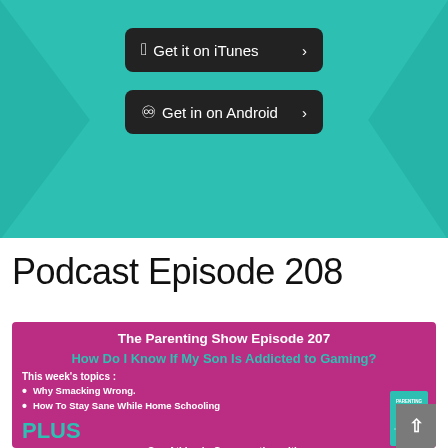[Figure (screenshot): Teal/green banner with two dark rounded buttons: 'Get it on iTunes >' and 'Get in on Android >']
Podcast Episode 208
[Figure (infographic): Purple/magenta podcast card showing 'The Parenting Show Episode 207', subtitle 'How Do I Know If My Son Is Addicted to Gaming?', topics: Why Smacking Wrong, How To Stay Sane While Home Schooling, PLUS Sue Atkins in Conversation with, and a teal book cover in bottom right.]